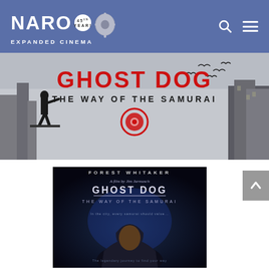NARO EXPANDED CINEMA — 45th Year!
[Figure (photo): Ghost Dog: The Way of the Samurai hero banner image showing a figure on a rooftop with birds in the sky and red graffiti-style title text]
[Figure (photo): Ghost Dog: The Way of the Samurai movie poster featuring Forest Whitaker in a dark hood, with text 'FOREST WHITAKER — A Film by Jim Jarmusch — GHOST DOG: THE WAY OF THE SAMURAI']